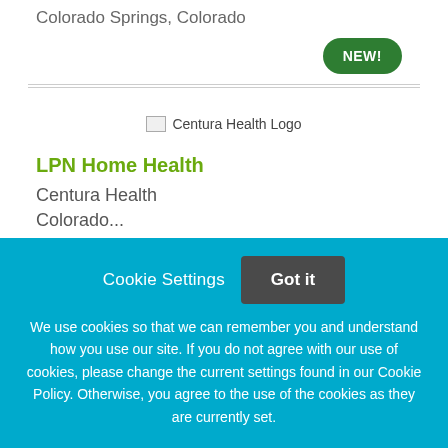Colorado Springs, Colorado
[Figure (other): Green NEW! badge/button in top right area]
[Figure (logo): Centura Health Logo placeholder image]
LPN Home Health
Centura Health
Colorado...
Cookie Settings  Got it

We use cookies so that we can remember you and understand how you use our site. If you do not agree with our use of cookies, please change the current settings found in our Cookie Policy. Otherwise, you agree to the use of the cookies as they are currently set.